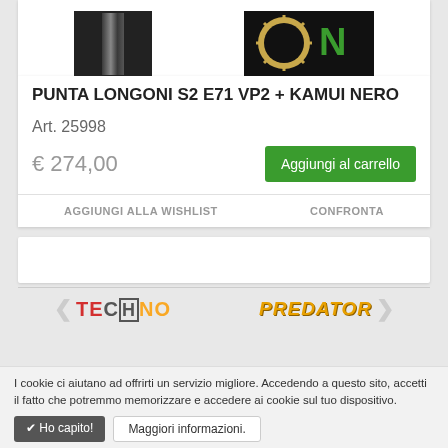[Figure (photo): Product images: billiard cue tip (dark cylindrical object on black background) and Kamui brand logo (golden sunburst design with letter N on black background)]
PUNTA LONGONI S2 E71 VP2 + KAMUI NERO
Art. 25998
€ 274,00
Aggiungi al carrello
AGGIUNGI ALLA WISHLIST
CONFRONTA
[Figure (other): Advertisement banner (white/empty)]
[Figure (logo): TECHNO brand logo in red and yellow stylized text with navigation arrows]
[Figure (logo): PREDATOR brand logo in golden italic stylized text with navigation arrow]
I cookie ci aiutano ad offrirti un servizio migliore. Accedendo a questo sito, accetti il fatto che potremmo memorizzare e accedere ai cookie sul tuo dispositivo.
✔ Ho capito!
Maggiori informazioni.